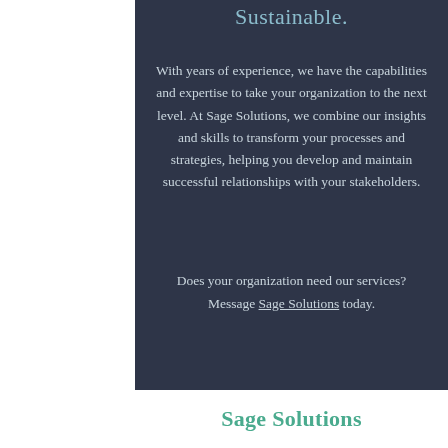Sustainable.
With years of experience, we have the capabilities and expertise to take your organization to the next level. At Sage Solutions, we combine our insights and skills to transform your processes and strategies, helping you develop and maintain successful relationships with your stakeholders.
Does your organization need our services? Message Sage Solutions today.
Sage Solutions